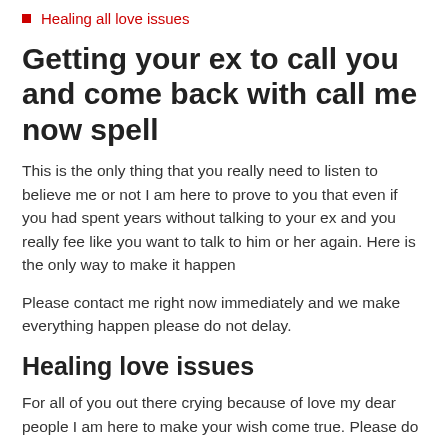Healing all love issues
Getting your ex to call you and come back with call me now spell
This is the only thing that you really need to listen to believe me or not I am here to prove to you that even if you had spent years without talking to your ex and you really fee like you want to talk to him or her again. Here is the only way to make it happen
Please contact me right now immediately and we make everything happen please do not delay.
Healing love issues
For all of you out there crying because of love my dear people I am here to make your wish come true. Please do